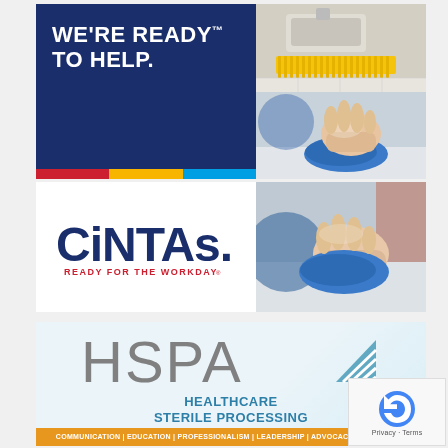[Figure (advertisement): Cintas advertisement banner with dark navy blue background on left side showing text WE'RE READY TO HELP in white bold text, color bar at bottom (red, yellow, blue). Right side shows two photos: top photo of a yellow floor scrub brush/cleaning machine, bottom photo of a gloved hand wiping a surface with a blue microfiber cloth.]
[Figure (logo): CINTAS logo in dark blue bold letters with registered trademark symbol, tagline READY FOR THE WORKDAY in red text below.]
[Figure (photo): Photo of a hand in latex glove wiping surface with blue microfiber cloth]
[Figure (logo): HSPA - Healthcare Sterile Processing Association logo. Large gray HSPA letters with teal/blue striped triangle symbol. Text below: HEALTHCARE STERILE PROCESSING ASSOCIATION. Bottom orange banner: COMMUNICATION | EDUCATION | PROFESSIONALISM | LEADERSHIP | ADVOCACY | EXCELLENCE]